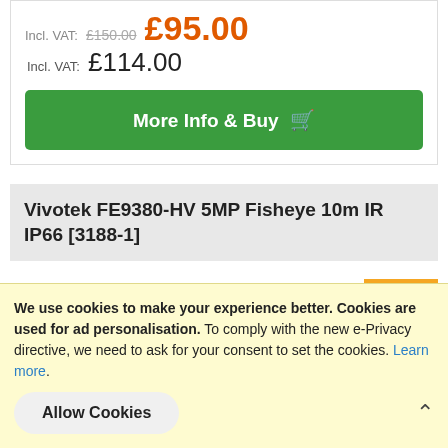Incl. VAT: £150.00 £95.00
Incl. VAT: £114.00
More Info & Buy
Vivotek FE9380-HV 5MP Fisheye 10m IR IP66 [3188-1]
-19%
We use cookies to make your experience better. Cookies are used for ad personalisation. To comply with the new e-Privacy directive, we need to ask for your consent to set the cookies. Learn more.
Allow Cookies